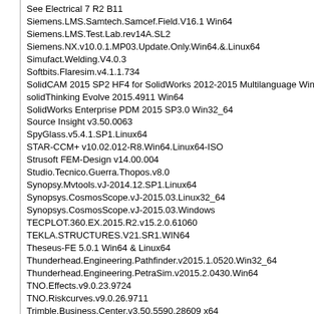See Electrical 7 R2 B11
Siemens.LMS.Samtech.Samcef.Field.V16.1 Win64
Siemens.LMS.Test.Lab.rev14A.SL2
Siemens.NX.v10.0.1.MP03.Update.Only.Win64.&.Linux64
Simufact.Welding.V4.0.3
Softbits.Flaresim.v4.1.1.734
SolidCAM 2015 SP2 HF4 for SolidWorks 2012-2015 Multilanguage Win3
solidThinking Evolve 2015.4911 Win64
SolidWorks Enterprise PDM 2015 SP3.0 Win32_64
Source Insight v3.50.0063
SpyGlass.v5.4.1.SP1.Linux64
STAR-CCM+ v10.02.012-R8.Win64.Linux64-ISO
Strusoft FEM-Design v14.00.004
Studio.Tecnico.Guerra.Thopos.v8.0
Synopsy.Mvtools.vJ-2014.12.SP1.Linux64
Synopsys.CosmosScope.vJ-2015.03.Linux32_64
Synopsys.CosmosScope.vJ-2015.03.Windows
TECPLOT.360.EX.2015.R2.v15.2.0.61060
TEKLA.STRUCTURES.V21.SR1.WIN64
Theseus-FE 5.0.1 Win64 & Linux64
Thunderhead.Engineering.Pathfinder.v2015.1.0520.Win32_64
Thunderhead.Engineering.PetraSim.v2015.2.0430.Win64
TNO.Effects.v9.0.23.9724
TNO.Riskcurves.v9.0.26.9711
Trimble.Business.Center.v3.50.5590.28609 x64
Trnsys 16
Vectric.Aspire.8.0.v2
Vero.AlphaCAM.v2015.R2-ISO
Virtutech Simics 3.0.31 Linux32_64
vista 2014